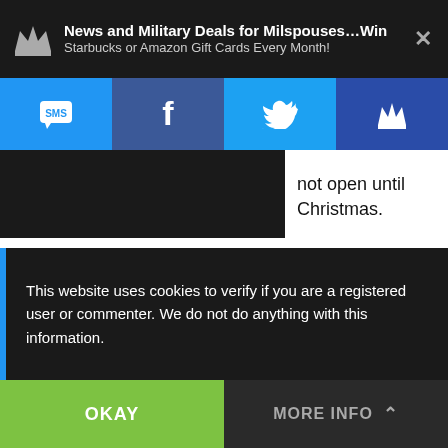News and Military Deals for Milspouses…Win Starbucks or Amazon Gift Cards Every Month!
[Figure (screenshot): Social sharing navigation bar with SMS, Facebook, Twitter, and crown/notification icons on colored backgrounds]
not open until Christmas.
enjoy these and feel free to click here to learn ng packages overseas.
es
and enjoy!
[Figure (screenshot): Social share buttons: Facebook, LinkedIn, Twitter, Pinterest, Google+]
This website uses cookies to verify if you are a registered user or commenter. We do not do anything with this information.
OKAY
MORE INFO